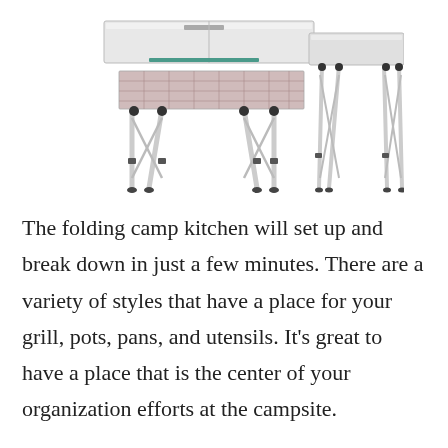[Figure (photo): A folding camp kitchen table with aluminum frame and cross-brace legs, showing a main cooking surface unit with a mesh shelf underneath and an attached side table, all on adjustable metal legs with rubber feet.]
The folding camp kitchen will set up and break down in just a few minutes. There are a variety of styles that have a place for your grill, pots, pans, and utensils. It’s great to have a place that is the center of your organization efforts at the campsite.
If you do have a table at your campsite it’s a good place to start with your campsite organization. If you